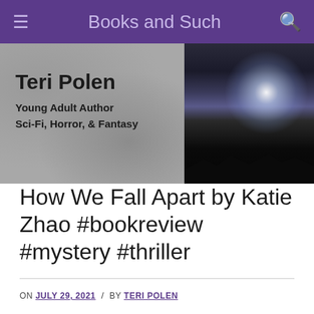Books and Such
[Figure (illustration): Website banner: left half shows gray concrete texture with bold text 'Teri Polen / Young Adult Author / Sci-Fi, Horror, & Fantasy'; right half shows a dramatic stormy sky with lightning and bright light rays breaking through dark clouds, silhouetted trees at bottom.]
How We Fall Apart by Katie Zhao #bookreview #mystery #thriller
ON JULY 29, 2021 / BY TERI POLEN